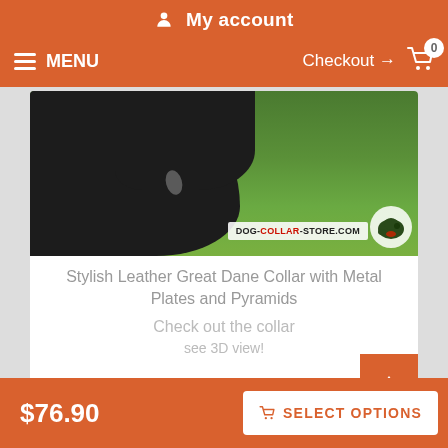My account
MENU  Checkout → 0
[Figure (photo): A black Great Dane dog viewed from the side/back on a grassy background. A watermark reads DOG-COLLAR-STORE.COM with a dog logo.]
Stylish Leather Great Dane Collar with Metal Plates and Pyramids
Check out the collar
see 3D view!
$76.90  SELECT OPTIONS